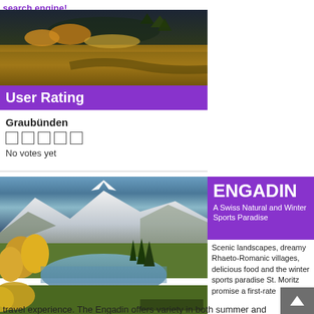search engine!
[Figure (photo): Autumn mountain landscape with golden larch trees and dark stormy sky in Graubünden, Switzerland]
User Rating
Graubünden
No votes yet
[Figure (photo): Engadin valley with alpine lake, snow-capped mountains, and autumn larch trees, Switzerland]
ENGADIN
A Swiss Natural and Winter Sports Paradise
Scenic landscapes, dreamy Rhaeto-Romanic villages, delicious food and the winter sports paradise St. Moritz promise a first-rate travel experience. The Engadin offers variety in both summer and